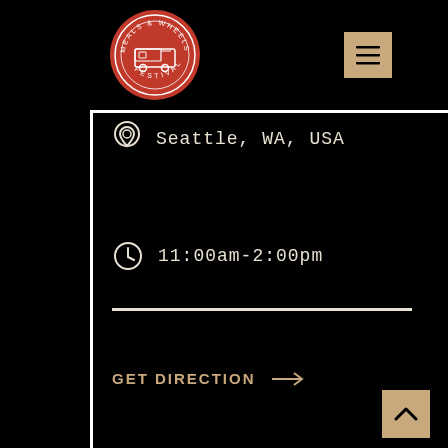[Figure (logo): Meals & Wheels Festival circular logo — red circle with white truck icon and circular text]
[Figure (other): Hamburger menu button — tan/khaki square with three horizontal lines]
Seattle, WA, USA
11:00am-2:00pm
GET DIRECTION →
[Figure (other): Back-to-top button — tan/khaki square with upward chevron arrow]